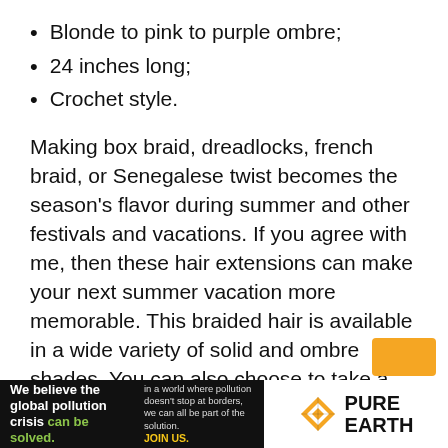Blonde to pink to purple ombre;
24 inches long;
Crochet style.
Making box braid, dreadlocks, french braid, or Senegalese twist becomes the season’s flavor during summer and other festivals and vacations. If you agree with me, then these hair extensions can make your next summer vacation more memorable. This braided hair is available in a wide variety of solid and ombre shades. You can also choose to take a solid color for you and a fun shade for your daughter or sister.
[Figure (infographic): Pure Earth advertisement banner. Left black section: 'We believe the global pollution crisis can be solved.' Right section with Pure Earth logo (diamond/chevron icon) and 'PURE EARTH' text. Orange button in top right corner.]